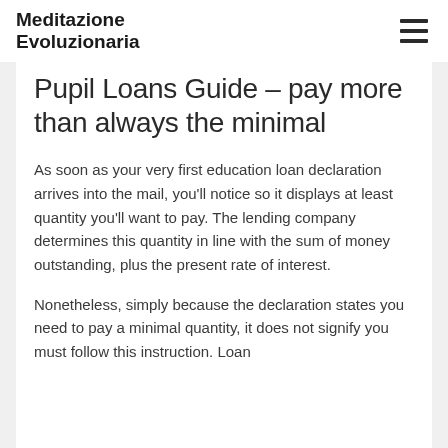Meditazione Evoluzionaria
Pupil Loans Guide – pay more than always the minimal
As soon as your very first education loan declaration arrives into the mail, you'll notice so it displays at least quantity you'll want to pay. The lending company determines this quantity in line with the sum of money outstanding, plus the present rate of interest.
Nonetheless, simply because the declaration states you need to pay a minimal quantity, it does not signify you must follow this instruction. Loan